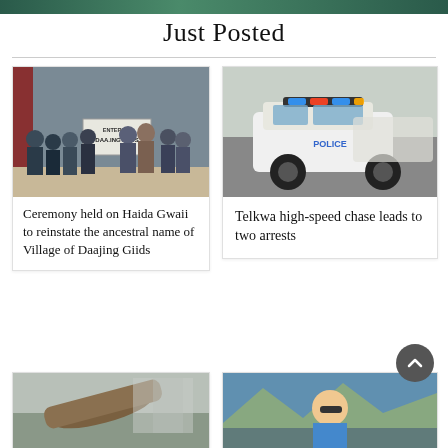Just Posted
[Figure (photo): Group of people holding a sign reading 'ENTERING DAAJING GIIDS' at a ceremony on Haida Gwaii]
Ceremony held on Haida Gwaii to reinstate the ancestral name of Village of Daajing Giids
[Figure (photo): Police SUV with lights on driving on a street, RCMP vehicle]
Telkwa high-speed chase leads to two arrests
[Figure (photo): Partial view of a cannon or log structure outdoors]
[Figure (photo): Man wearing sunglasses at an outdoor event with crowd in background]